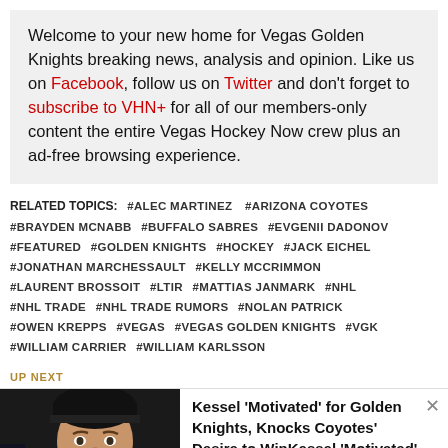Welcome to your new home for Vegas Golden Knights breaking news, analysis and opinion. Like us on Facebook, follow us on Twitter and don't forget to subscribe to VHN+ for all of our members-only content the entire Vegas Hockey Now crew plus an ad-free browsing experience.
RELATED TOPICS: #ALEC MARTINEZ #ARIZONA COYOTES #BRAYDEN MCNABB #BUFFALO SABRES #EVGENII DADONOV #FEATURED #GOLDEN KNIGHTS #HOCKEY #JACK EICHEL #JONATHAN MARCHESSAULT #KELLY MCCRIMMON #LAURENT BROSSOIT #LTIR #MATTIAS JANMARK #NHL #NHL TRADE #NHL TRADE RUMORS #NOLAN PATRICK #OWEN KREPPS #VEGAS #VEGAS GOLDEN KNIGHTS #VGK #WILLIAM CARRIER #WILLIAM KARLSSON
UP NEXT
[Figure (photo): Photo of a man wearing a black beanie hat, appears to be a hockey player or coach in a dark jersey]
Kessel 'Motivated' for Golden Knights, Knocks Coyotes' Desire to WinKessel 'Motivated' for Golden...